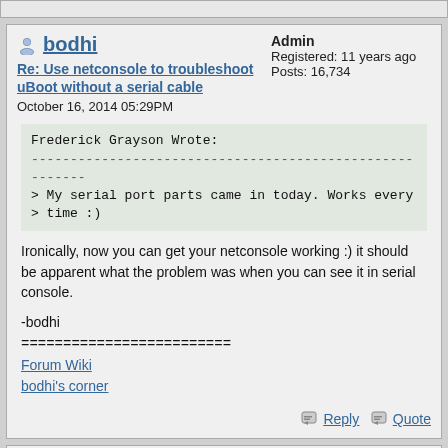bodhi
Re: Use netconsole to troubleshoot uBoot without a serial cable
October 16, 2014 05:29PM
Admin
Registered: 11 years ago
Posts: 16,734
Frederick Grayson Wrote:
--------------------------------------------------------
> My serial port parts came in today. Works every
> time :)
Ironically, now you can get your netconsole working :) it should be apparent what the problem was when you can see it in serial console.
-bodhi
=========================
Forum Wiki
bodhi's corner
Frederick Grayson